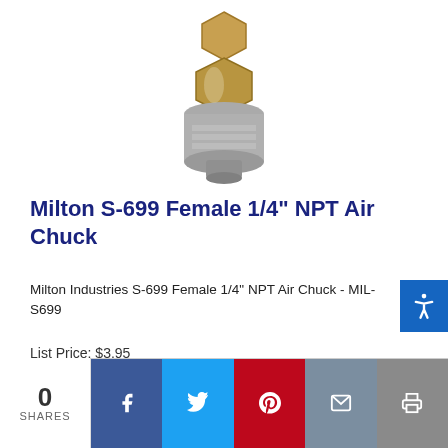[Figure (photo): Photo of Milton S-699 Female 1/4 inch NPT Air Chuck, a metallic silver and brass coupling fitting viewed from above]
Milton S-699 Female 1/4" NPT Air Chuck
Milton Industries S-699 Female 1/4" NPT Air Chuck - MIL-S699
List Price: $3.95
Our Price: $3.48
Add To Cart
0 SHARES